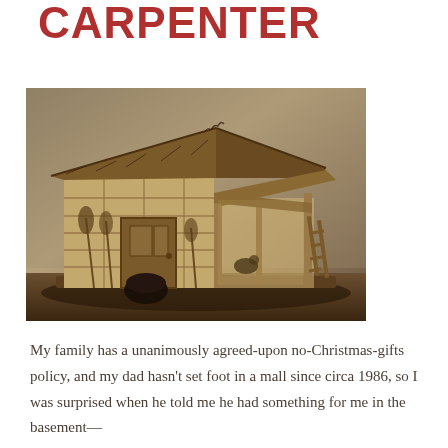CARPENTER
[Figure (photo): A handmade wooden nativity stable model with a gabled roof, open front section with a ladder, brooms leaning against the wall, and small decorative details on a dark base.]
My family has a unanimously agreed-upon no-Christmas-gifts policy, and my dad hasn't set foot in a mall since circa 1986, so I was surprised when he told me he had something for me in the basement—